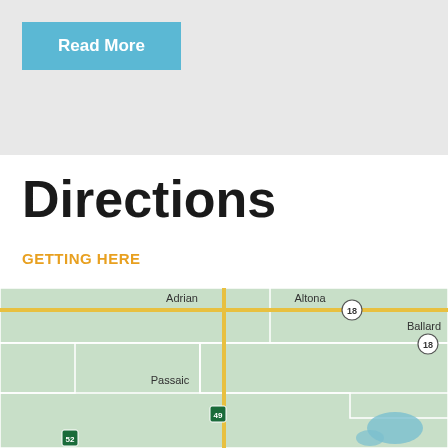Read More
Directions
GETTING HERE
[Figure (map): Road map showing Adrian, Altona, Ballard, Passaic and surrounding areas with highway routes including routes 18, 49, and 52]